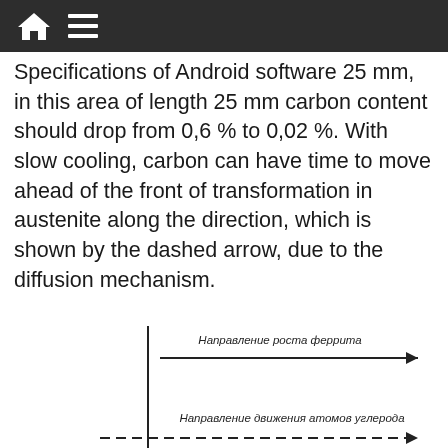Specifications of Android software 25 mm, in this area of length 25 mm carbon content should drop from 0,6 % to 0,02 %. With slow cooling, carbon can have time to move ahead of the front of transformation in austenite along the direction, which is shown by the dashed arrow, due to the diffusion mechanism.
[Figure (engineering-diagram): Diagram showing direction of ferrite growth (Направление роста феррита) with solid arrow pointing right, and direction of carbon atom movement (Направление движения атомов углерода) with dashed arrow pointing right. Left side labeled Феррит (ГЦК) %С = 0,02, right side labeled Аустенит (ОЦК). A vertical line separates the two phases.]